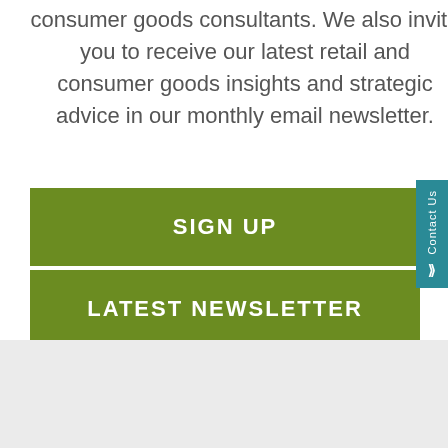consumer goods consultants. We also invite you to receive our latest retail and consumer goods insights and strategic advice in our monthly email newsletter.
SIGN UP
LATEST NEWSLETTER
Contact Us